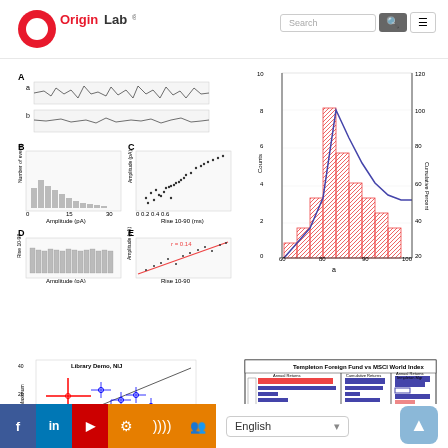[Figure (logo): OriginLab logo - red circle with white 'O' shape and black/red text 'OriginLab']
[Figure (screenshot): Search bar with search button and hamburger menu button]
[Figure (continuous-plot): Multi-panel scientific figure showing: A) electrophysiology traces (a and b), B) histogram of number of events vs amplitude (pA), C) scatter plot of Amplitude vs Rise 10-90 (ms), D) bar chart of Rise 10-90 vs Amplitude, E) scatter plot with linear fit showing Amplitude vs Rise 10-90 with r=0.14]
[Figure (histogram): Histogram with cumulative percent overlay. Red hatched bars showing Counts on left y-axis (0-10), blue step line showing Cumulative Percent on right y-axis (0-120%). X-axis shows values from 60 to 100.]
[Figure (scatter-plot): Scatter plot titled 'Library Demo, NIJ' showing Maximum vs some variable, with red and blue data points with error bars, and a diagonal reference line]
[Figure (continuous-plot): Complex multi-panel chart titled 'Templeton Foreign Fund vs MSCI World Index' showing financial comparison data with red and blue bars across multiple panels]